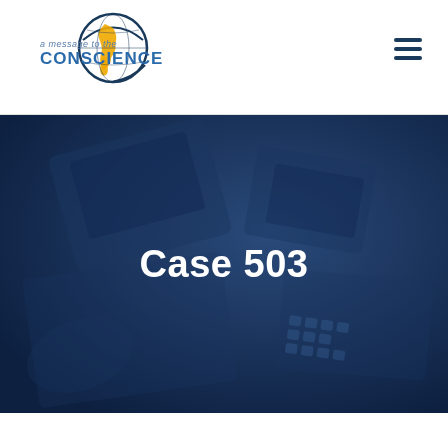[Figure (logo): A Message to the Conscience logo with globe graphic and text]
Case 503